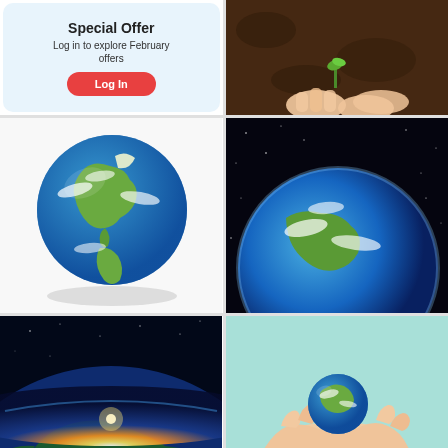Special Offer
Log in to explore February offers
Log In
[Figure (photo): Hands holding a small green seedling in dark soil]
[Figure (photo): Globe of Earth floating on white background with shadow]
[Figure (photo): Earth from space with stars in background]
[Figure (photo): Earth from space with sunrise on the horizon, dark blue sky]
[Figure (photo): Hands holding a small globe Earth on light teal background]